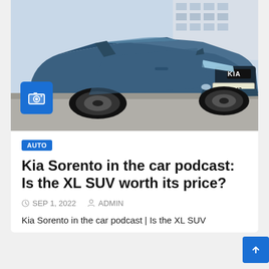[Figure (photo): Blue Kia Sorento SUV photographed from front-left angle, license plate F·PR 1043, driving on a street with a building in background. Camera icon badge overlaid in bottom-left of the photo.]
AUTO
Kia Sorento in the car podcast: Is the XL SUV worth its price?
SEP 1, 2022   ADMIN
Kia Sorento in the car podcast | Is the XL SUV